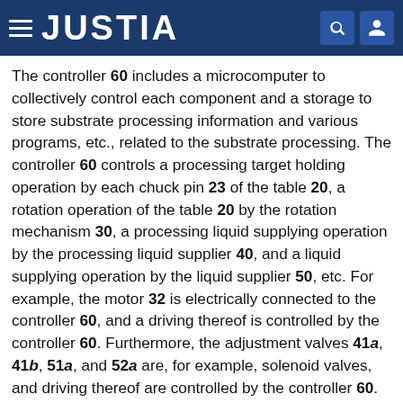JUSTIA
The controller 60 includes a microcomputer to collectively control each component and a storage to store substrate processing information and various programs, etc., related to the substrate processing. The controller 60 controls a processing target holding operation by each chuck pin 23 of the table 20, a rotation operation of the table 20 by the rotation mechanism 30, a processing liquid supplying operation by the processing liquid supplier 40, and a liquid supplying operation by the liquid supplier 50, etc. For example, the motor 32 is electrically connected to the controller 60, and a driving thereof is controlled by the controller 60. Furthermore, the adjustment valves 41a, 41b, 51a, and 52a are, for example, solenoid valves, and driving thereof are controlled by the controller 60.
(Substrate Processing Process)